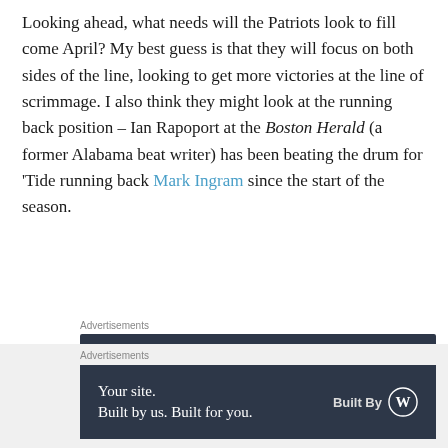Looking ahead, what needs will the Patriots look to fill come April? My best guess is that they will focus on both sides of the line, looking to get more victories at the line of scrimmage. I also think they might look at the running back position – Ian Rapoport at the Boston Herald (a former Alabama beat writer) has been beating the drum for 'Tide running back Mark Ingram since the start of the season.
[Figure (other): Advertisement banner: dark navy background, text 'Discover new reads on the go.' with 'GET THE APP' and WordPress logo on the right.]
One thing we do know. The Patriots will come out of this
[Figure (other): Advertisement banner at bottom: dark navy background, text 'Your site. Built by us. Built for you.' with 'Built By' and WordPress logo on the right.]